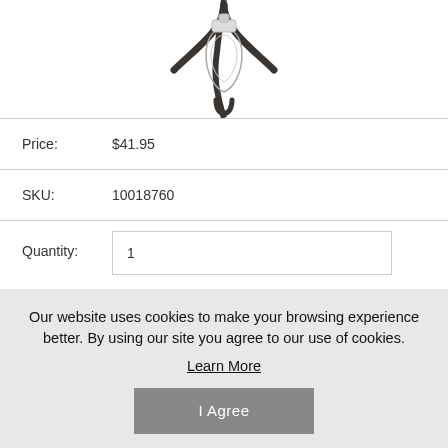[Figure (photo): Partial view of a wall sconce light fixture with dark metal arms and a glass bulb, cropped at the top]
| Price: | $41.95 |
| SKU: | 10018760 |
| Quantity: | 1 |
add
Our website uses cookies to make your browsing experience better. By using our site you agree to our use of cookies.
Learn More
I Agree